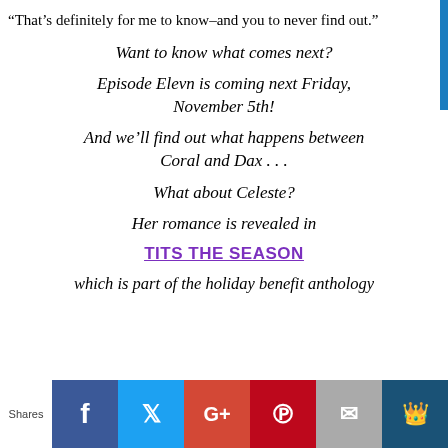“That’s definitely for me to know–and you to never find out.”
Want to know what comes next?
Episode Elevn is coming next Friday, November 5th!
And we’ll find out what happens between Coral and Dax . . .
What about Celeste?
Her romance is revealed in
TITS THE SEASON
which is part of the holiday benefit anthology
Shares [Facebook] [Twitter] [Google+] [Pinterest] [Email] [Crown]